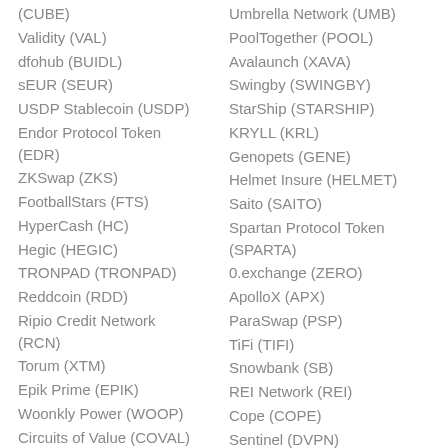(CUBE)
Umbrella Network (UMB)
Validity (VAL)
PoolTogether (POOL)
dfohub (BUIDL)
Avalaunch (XAVA)
sEUR (SEUR)
Swingby (SWINGBY)
USDP Stablecoin (USDP)
StarShip (STARSHIP)
Endor Protocol Token (EDR)
KRYLL (KRL)
ZKSwap (ZKS)
Genopets (GENE)
FootballStars (FTS)
Helmet Insure (HELMET)
HyperCash (HC)
Saito (SAITO)
Hegic (HEGIC)
Spartan Protocol Token (SPARTA)
TRONPAD (TRONPAD)
0.exchange (ZERO)
Reddcoin (RDD)
ApolloX (APX)
Ripio Credit Network (RCN)
ParaSwap (PSP)
TiFi (TIFI)
Torum (XTM)
Snowbank (SB)
Epik Prime (EPIK)
REI Network (REI)
Woonkly Power (WOOP)
Cope (COPE)
Circuits of Value (COVAL)
Sentinel (DVPN)